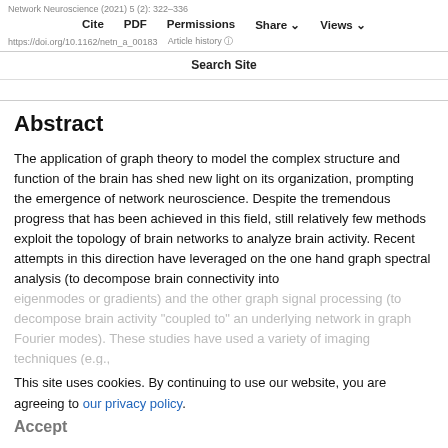Network Neuroscience (2021) 5 (2): 322–336
Cite  PDF  Permissions  Share  Views
https://doi.org/10.1162/netn_a_00183  Article history
Search Site
Abstract
The application of graph theory to model the complex structure and function of the brain has shed new light on its organization, prompting the emergence of network neuroscience. Despite the tremendous progress that has been achieved in this field, still relatively few methods exploit the topology of brain networks to analyze brain activity. Recent attempts in this direction have leveraged on the one hand graph spectral analysis (to decompose brain connectivity into
eigenmodes or gradients) and the other graph signal processing (to decompose brain activity "coupled to" an underlying network in graph Fourier modes). These studies have used a variety of imaging techniques (e.g.,
This site uses cookies. By continuing to use our website, you are agreeing to our privacy policy.
Accept